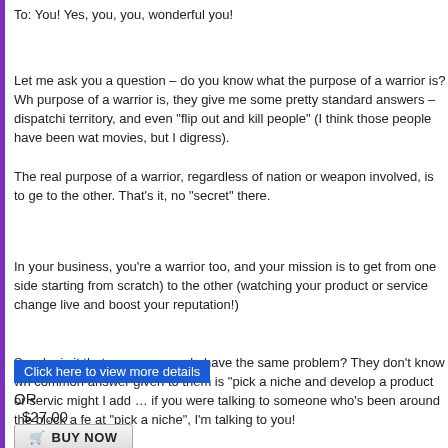To: You! Yes, you, you, wonderful you!
Let me ask you a question – do you know what the purpose of a warrior is? Wh purpose of a warrior is, they give me some pretty standard answers – dispatchi territory, and even "flip out and kill people" (I think those people have been wat movies, but I digress).
The real purpose of a warrior, regardless of nation or weapon involved, is to ge to the other. That's it, no "secret" there.
In your business, you're a warrior too, and your mission is to get from one side starting from scratch) to the other (watching your product or service change live and boost your reputation!)
So why is it that so many people have the same problem? They don't know wh common answer given to them is "pick a niche and develop a product or servic might I add … if you were talking to someone who's been around the block a fe at "pick a niche", I'm talking to you!
Click here to view more details
OR
$27.00
BUY NOW